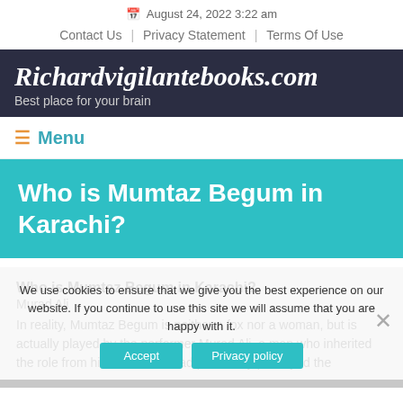August 24, 2022 3:22 am
Contact Us | Privacy Statement | Terms Of Use
Richardvigilantebooks.com
Best place for your brain
☰ Menu
Who is Mumtaz Begum in Karachi?
Who is Mumtaz Begum in Karachi?
Murad Ali
In reality, Mumtaz Begum is neither a fox nor a woman, but is actually played by the performer Murad Ali, a man who inherited the role from his father who had previously portrayed the
We use cookies to ensure that we give you the best experience on our website. If you continue to use this site we will assume that you are happy with it.